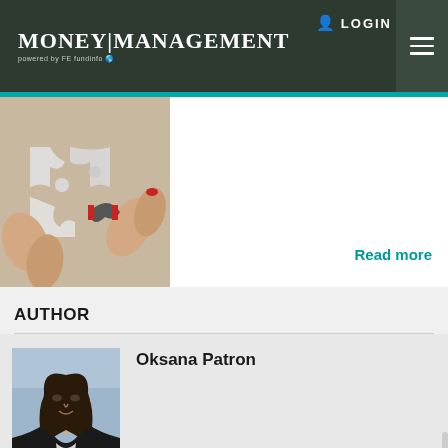MONEY|MANAGEMENT powered by FE fundinfo
LOGIN
[Figure (photo): Hands holding puzzle pieces together]
Read more
AUTHOR
[Figure (photo): Headshot photo of Oksana Patron, a woman with dark hair wearing a black jacket]
Oksana Patron